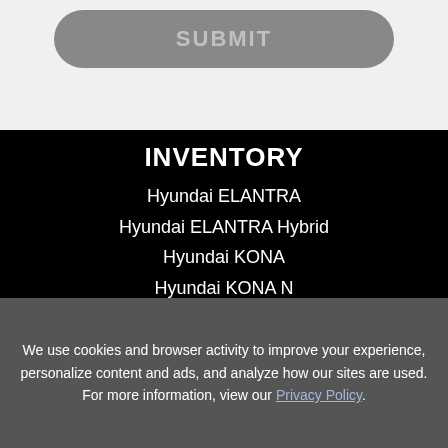[Figure (screenshot): Gray rounded submit button partially visible at top of page]
INVENTORY
Hyundai ELANTRA
Hyundai ELANTRA Hybrid
Hyundai KONA
Hyundai KONA N
We use cookies and browser activity to improve your experience, personalize content and ads, and analyze how our sites are used. For more information, view our Privacy Policy.
ACCEPT